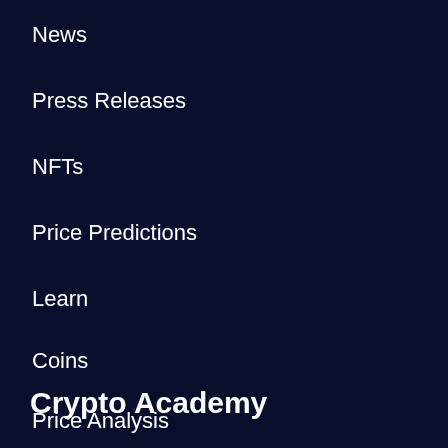News
Press Releases
NFTs
Price Predictions
Learn
Coins
Price Analysis
Reviews
Crypto Academy